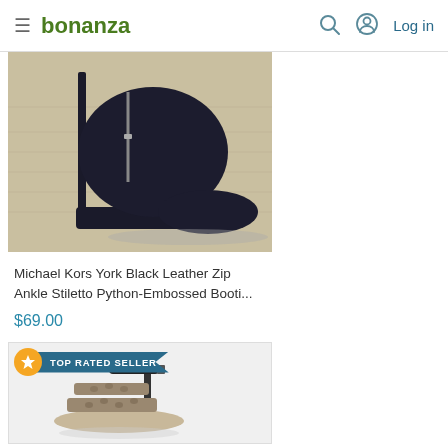bonanza | Log in
[Figure (photo): Black high-heel stiletto ankle boot with side zipper detail on wood floor background]
Michael Kors York Black Leather Zip Ankle Stiletto Python-Embossed Booti...
$69.00
[Figure (infographic): TOP RATED SELLER badge with orange star icon and teal ribbon banner]
[Figure (photo): Snake-print strappy high-heel sandal on white background]